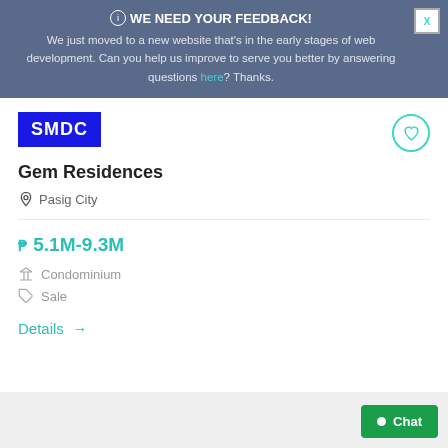WE NEED YOUR FEEDBACK! We just moved to a new website that's in the early stages of web development. Can you help us improve to serve you better by answering questions here? Thanks.
[Figure (logo): SMDC logo — white bold text on blue background]
Gem Residences
Pasig City
₱ 5.1M-9.3M
Condominium
Sale
Details →